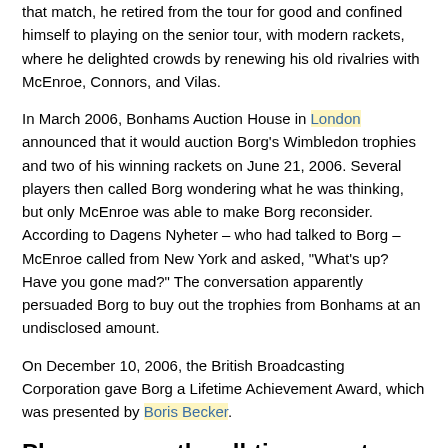that match, he retired from the tour for good and confined himself to playing on the senior tour, with modern rackets, where he delighted crowds by renewing his old rivalries with McEnroe, Connors, and Vilas.
In March 2006, Bonhams Auction House in London announced that it would auction Borg's Wimbledon trophies and two of his winning rackets on June 21, 2006. Several players then called Borg wondering what he was thinking, but only McEnroe was able to make Borg reconsider. According to Dagens Nyheter – who had talked to Borg – McEnroe called from New York and asked, "What's up? Have you gone mad?" The conversation apparently persuaded Borg to buy out the trophies from Bonhams at an undisclosed amount.
On December 10, 2006, the British Broadcasting Corporation gave Borg a Lifetime Achievement Award, which was presented by Boris Becker.
Place among the all-time greats
Aside from his records, the French-Wimbledon double he achieved three times consecutively was called by Wimbledon officials "the most difficult double in tennis" and "a feat considered impossible among today's players." No player has managed to achieve his double since (and indeed Andre Agassi is the only male player since Borg to win both the French Open and Wimbledon men's singles titles over the course of his career).
The major blemishes in Borg's Grand Slam record are that he failed to win either the U.S. Open or the Australian Open during his career. He reached